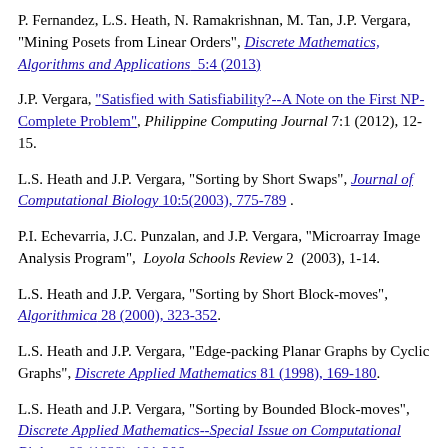P. Fernandez, L.S. Heath, N. Ramakrishnan, M. Tan, J.P. Vergara, "Mining Posets from Linear Orders", Discrete Mathematics, Algorithms and Applications 5:4 (2013)
J.P. Vergara, "Satisfied with Satisfiability?--A Note on the First NP-Complete Problem", Philippine Computing Journal 7:1 (2012), 12-15.
L.S. Heath and J.P. Vergara, "Sorting by Short Swaps", Journal of Computational Biology 10:5(2003), 775-789 .
P.I. Echevarria, J.C. Punzalan, and J.P. Vergara, "Microarray Image Analysis Program", Loyola Schools Review 2 (2003), 1-14.
L.S. Heath and J.P. Vergara, "Sorting by Short Block-moves", Algorithmica 28 (2000), 323-352.
L.S. Heath and J.P. Vergara, "Edge-packing Planar Graphs by Cyclic Graphs", Discrete Applied Mathematics 81 (1998), 169-180.
L.S. Heath and J.P. Vergara, "Sorting by Bounded Block-moves", Discrete Applied Mathematics--Special Issue on Computational Biology 88 (1998), 181-206.
L.S. Heath and J.P. Vergara, "Edge-packing in Planar Graphs",